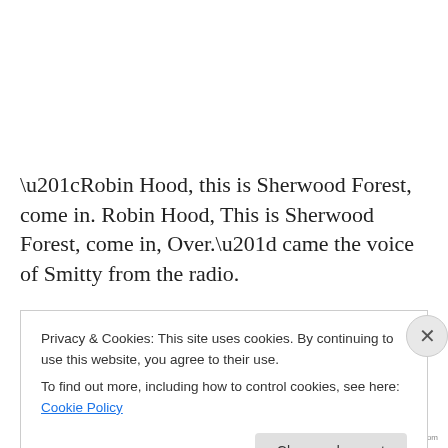“Robin Hood, this is Sherwood Forest, come in. Robin Hood, This is Sherwood Forest, come in, Over.” came the voice of Smitty from the radio.
“Sherwood Forest this is Robin Hood. Over.” replied Tex in to the handset.
Privacy & Cookies: This site uses cookies. By continuing to use this website, you agree to their use.
To find out more, including how to control cookies, see here: Cookie Policy
Close and accept